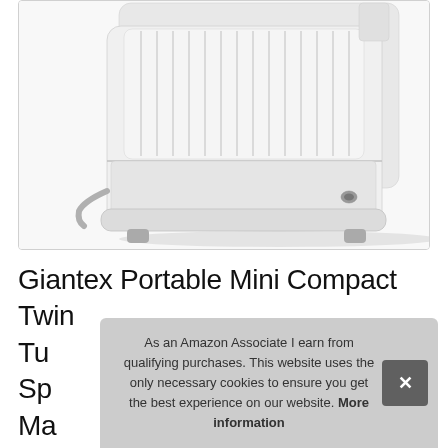[Figure (photo): Product photo of a white Giantex Portable Mini Compact Twin Tub washing machine, showing the bottom portion of the appliance with white ribbed/ridged panels, small feet, and drainage outlet, photographed from a slightly elevated angle against a white background.]
Giantex Portable Mini Compact Twin Tu Sp Ma
As an Amazon Associate I earn from qualifying purchases. This website uses the only necessary cookies to ensure you get the best experience on our website. More information